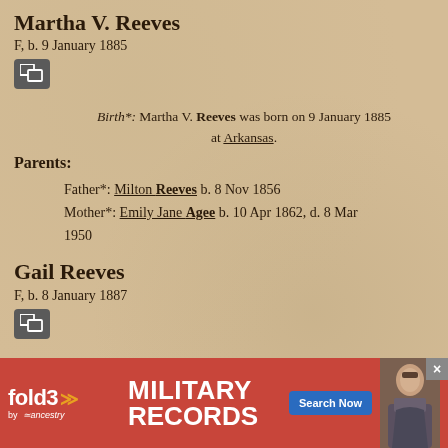Martha V. Reeves
F, b. 9 January 1885
Birth*: Martha V. Reeves was born on 9 January 1885 at Arkansas.
Parents:
Father*: Milton Reeves b. 8 Nov 1856
Mother*: Emily Jane Agee b. 10 Apr 1862, d. 8 Mar 1950
Gail Reeves
F, b. 8 January 1887
Birth*: Gail Reeves was born on 8 January 1887.
Parents:
[Figure (screenshot): Advertisement for Fold3 Military Records by Ancestry with Search Now button and soldier photo]